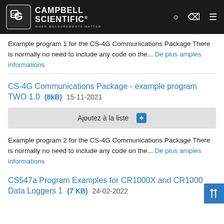Campbell Scientific - When Measurements Matter
Example program 1 for the CS-4G Communications Package There is normally no need to include any code on the... De plus amples informations
CS-4G Communications Package - example program TWO 1.0  (8kB)  15-11-2021
Ajoutez à la liste +
Example program 2 for the CS-4G Communications Package There is normally no need to include any code on the... De plus amples informations
CS547a Program Examples for CR1000X and CR1000 Data Loggers 1  (7 KB)  24-02-2022